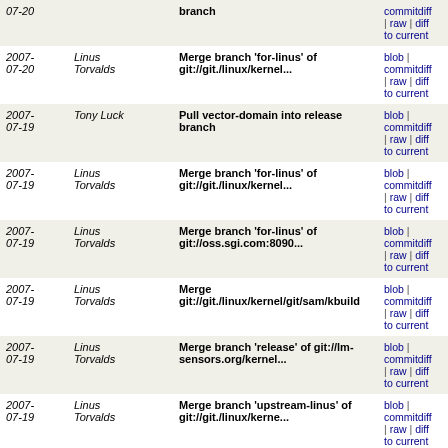| Date | Author | Message | Links |
| --- | --- | --- | --- |
| 2007-07-20 |  | branch | blob | commitdiff | raw | diff to current |
| 2007-07-20 | Linus Torvalds | Merge branch 'for-linus' of git://git./linux/kernel... | blob | commitdiff | raw | diff to current |
| 2007-07-19 | Tony Luck | Pull vector-domain into release branch | blob | commitdiff | raw | diff to current |
| 2007-07-19 | Linus Torvalds | Merge branch 'for-linus' of git://git./linux/kernel... | blob | commitdiff | raw | diff to current |
| 2007-07-19 | Linus Torvalds | Merge branch 'for-linus' of git://oss.sgi.com:8090... | blob | commitdiff | raw | diff to current |
| 2007-07-19 | Linus Torvalds | Merge git://git./linux/kernel/git/sam/kbuild | blob | commitdiff | raw | diff to current |
| 2007-07-19 | Linus Torvalds | Merge branch 'release' of git://lm-sensors.org/kernel... | blob | commitdiff | raw | diff to current |
| 2007-07-19 | Linus Torvalds | Merge branch 'upstream-linus' of git://git./linux/kerne... | blob | commitdiff | raw | diff to current |
| 2007-07-19 | Linus Torvalds | Merge branch 'master' of /linux/kernel/git/davem/net-2.6 | blob | commitdiff | raw | diff to current |
| 2007-07-19 | Yoann Padioleau | some kmalloc/memset ->kzalloc (tree wide) | blob | commitdiff | raw | diff to current |
| 2006-12-12 | Dave Jones | Merge ../linus | blob | commitdiff |